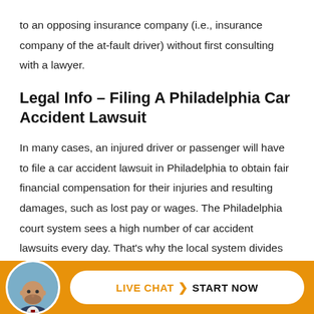to an opposing insurance company (i.e., insurance company of the at-fault driver) without first consulting with a lawyer.
Legal Info – Filing A Philadelphia Car Accident Lawsuit
In many cases, an injured driver or passenger will have to file a car accident lawsuit in Philadelphia to obtain fair financial compensation for their injuries and resulting damages, such as lost pay or wages. The Philadelphia court system sees a high number of car accident lawsuits every day. That's why the local system divides car accident cases into two main
[Figure (other): Orange footer bar with circular avatar photo of a bald man in a suit, and a white rounded pill button reading 'LIVE CHAT > START NOW']